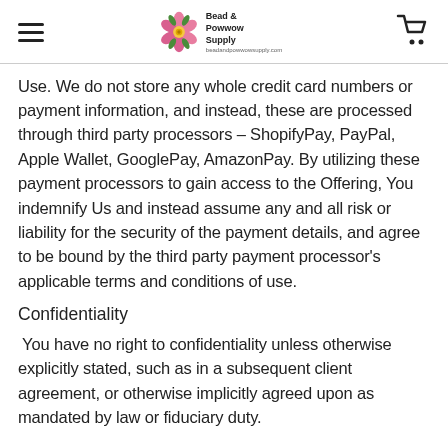Bead & Powwow Supply
Use. We do not store any whole credit card numbers or payment information, and instead, these are processed through third party processors – ShopifyPay, PayPal, Apple Wallet, GooglePay, AmazonPay. By utilizing these payment processors to gain access to the Offering, You indemnify Us and instead assume any and all risk or liability for the security of the payment details, and agree to be bound by the third party payment processor's applicable terms and conditions of use.
Confidentiality
You have no right to confidentiality unless otherwise explicitly stated, such as in a subsequent client agreement, or otherwise implicitly agreed upon as mandated by law or fiduciary duty.